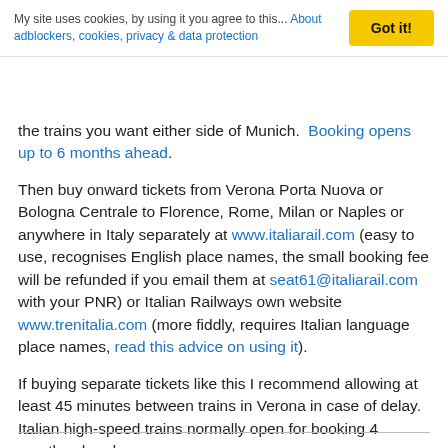My site uses cookies, by using it you agree to this... About adblockers, cookies, privacy & data protection  Got it!
the trains you want either side of Munich. Booking opens up to 6 months ahead.
Then buy onward tickets from Verona Porta Nuova or Bologna Centrale to Florence, Rome, Milan or Naples or anywhere in Italy separately at www.italiarail.com (easy to use, recognises English place names, the small booking fee will be refunded if you email them at seat61@italiarail.com with your PNR) or Italian Railways own website www.trenitalia.com (more fiddly, requires Italian language place names, read this advice on using it).
If buying separate tickets like this I recommend allowing at least 45 minutes between trains in Verona in case of delay.  Italian high-speed trains normally open for booking 4 months ahead.
Back to top